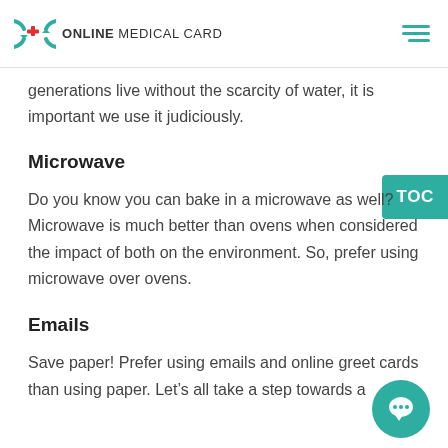ONLINE MEDICAL CARD
generations live without the scarcity of water, it is important we use it judiciously.
Microwave
Do you know you can bake in a microwave as well? Microwave is much better than ovens when considered the impact of both on the environment. So, prefer using microwave over ovens.
Emails
Save paper! Prefer using emails and online greet cards than using paper. Let’s all take a step towards a